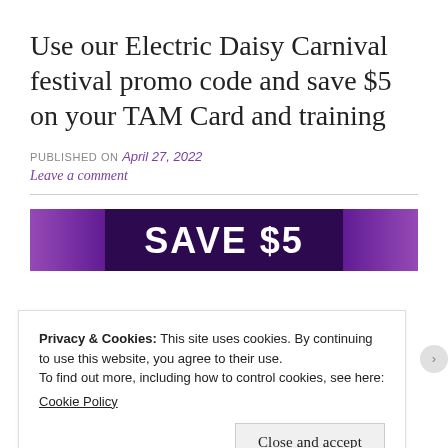Use our Electric Daisy Carnival festival promo code and save $5 on your TAM Card and training
PUBLISHED ON April 27, 2022
Leave a comment
[Figure (photo): Banner image showing 'SAVE $5' text on purple/dark background]
Privacy & Cookies: This site uses cookies. By continuing to use this website, you agree to their use.
To find out more, including how to control cookies, see here:
Cookie Policy
Close and accept